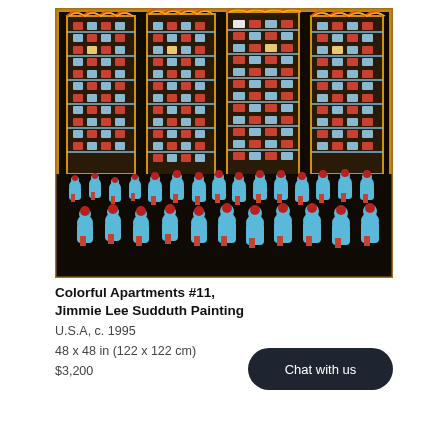[Figure (photo): A painting titled 'Colorful Apartments #11' by Jimmie Lee Sudduth. The painting depicts four tall apartment buildings with orange and gold outlines against a dark background, with rows of windows. In the foreground, numerous stylized human figures in blue and red stand before the buildings. The artwork has a folk art style with bold, expressive colors.]
Colorful Apartments #11, Jimmie Lee Sudduth Painting
U.S.A, c. 1995
48 x 48 in (122 x 122 cm)
$3,200